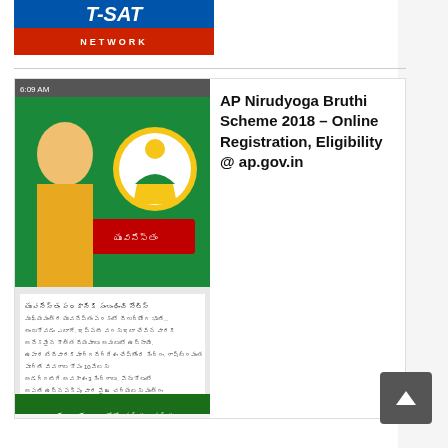[Figure (screenshot): T-SAT Network logo banner - red and blue background with white text]
[Figure (screenshot): AP Nirudyoga Bruthi Scheme 2018 article thumbnail showing a politician with Telugu text and Yuvanestham scheme logo]
AP Nirudyoga Bruthi Scheme 2018 – Online Registration, Eligibility @ ap.gov.in